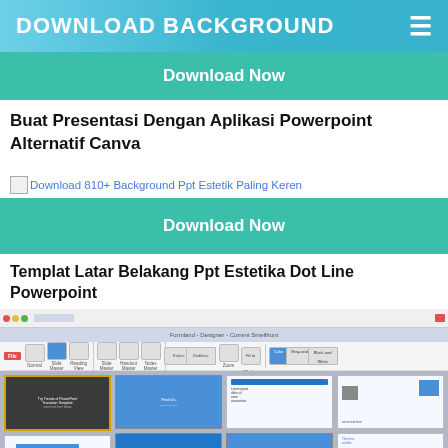DOWNLOAD BACKGROUND
Download Now
Buat Presentasi Dengan Aplikasi Powerpoint Alternatif Canva
[Figure (screenshot): Broken image placeholder with alt text: Download 810+ Background Ppt Estetik Paling Keren]
Download Now
Templat Latar Belakang Ppt Estetika Dot Line Powerpoint
[Figure (screenshot): Screenshot of Microsoft PowerPoint interface showing slide thumbnails with various blue and dark-themed presentation slides]